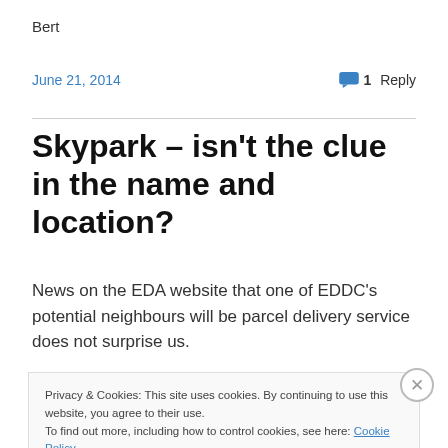Bert
June 21, 2014  1 Reply
Skypark – isn't the clue in the name and location?
News on the EDA website that one of EDDC's potential neighbours will be parcel delivery service does not surprise us.
Privacy & Cookies: This site uses cookies. By continuing to use this website, you agree to their use.
To find out more, including how to control cookies, see here: Cookie Policy
Close and accept